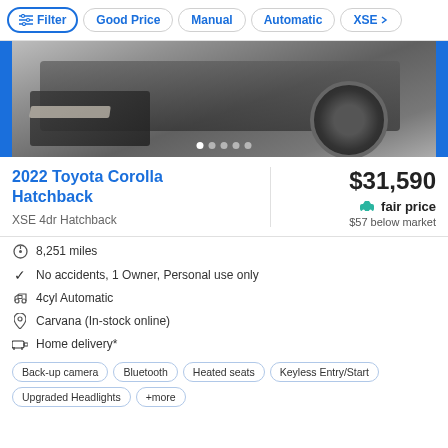Filter | Good Price | Manual | Automatic | XSE
[Figure (photo): Close-up photo of a 2022 Toyota Corolla Hatchback front bumper and wheel, in dark gray/graphite color, with blue side strips and dot navigation indicators]
2022 Toyota Corolla Hatchback
XSE 4dr Hatchback
$31,590
fair price
$57 below market
8,251 miles
No accidents, 1 Owner, Personal use only
4cyl Automatic
Carvana (In-stock online)
Home delivery*
Back-up camera  Bluetooth  Heated seats  Keyless Entry/Start  Upgraded Headlights  +more